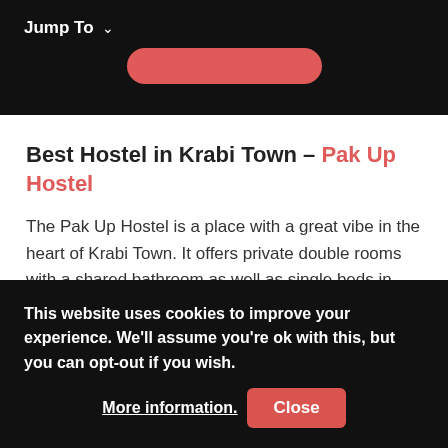Jump To ∨
[Figure (other): Partially visible red rounded-rectangle button at top of page]
Best Hostel in Krabi Town – Pak Up Hostel
The Pak Up Hostel is a place with a great vibe in the heart of Krabi Town. It offers private double rooms with a shared bathroom as well as single beds in mixed and female-only dormitory rooms. A social event is organised every night by the team.
This website uses cookies to improve your experience. We'll assume you're ok with this, but you can opt-out if you wish. More information. Close